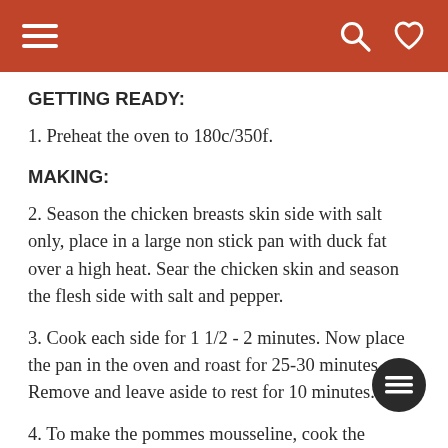Navigation header with hamburger menu, search icon, and heart icon
GETTING READY:
1. Preheat the oven to 180c/350f.
MAKING:
2. Season the chicken breasts skin side with salt only, place in a large non stick pan with duck fat over a high heat. Sear the chicken skin and season the flesh side with salt and pepper.
3. Cook each side for 1 1/2 - 2 minutes. Now place the pan in the oven and roast for 25-30 minutes. Remove and leave aside to rest for 10 minutes.
4. To make the pommes mousseline, cook the potatoes in a saucepan of salted boiling water for 20 minutes or until soft and tender. Drain and skin the